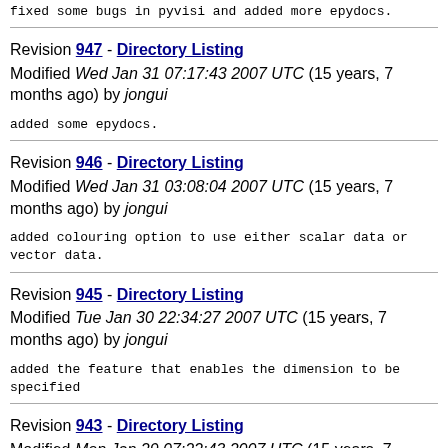fixed some bugs in pyvisi and added more epydocs.
Revision 947 - Directory Listing
Modified Wed Jan 31 07:17:43 2007 UTC (15 years, 7 months ago) by jongui
added some epydocs.
Revision 946 - Directory Listing
Modified Wed Jan 31 03:08:04 2007 UTC (15 years, 7 months ago) by jongui
added colouring option to use either scalar data or vector data.
Revision 945 - Directory Listing
Modified Tue Jan 30 22:34:27 2007 UTC (15 years, 7 months ago) by jongui
added the feature that enables the dimension to be specified
Revision 943 - Directory Listing
Modified Mon Jan 29 07:22:43 2007 UTC (15 years, 7 months ago) by jongui